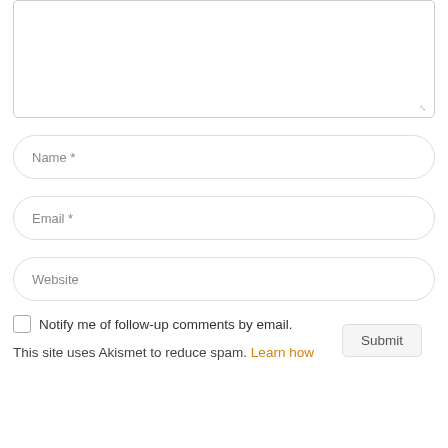[Figure (screenshot): A textarea input field with resize handle at bottom-right corner]
Name *
Email *
Website
Notify me of follow-up comments by email.
This site uses Akismet to reduce spam. Learn how
Submit